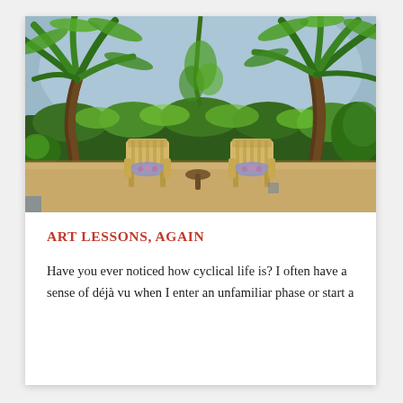[Figure (illustration): Painting of a tropical garden patio scene with two wooden Adirondack chairs with floral cushions and a small table between them, surrounded by lush green palm trees and tropical foliage, with a sandy/stone patio floor and blue-grey sky visible in the background.]
ART LESSONS, AGAIN
Have you ever noticed how cyclical life is? I often have a sense of déjà vu when I enter an unfamiliar phase or start a